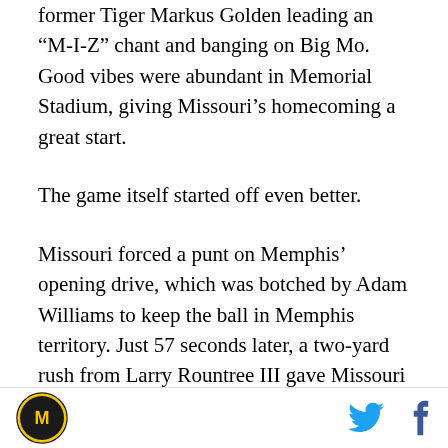former Tiger Markus Golden leading an “M-I-Z” chant and banging on Big Mo. Good vibes were abundant in Memorial Stadium, giving Missouri’s homecoming a great start.
The game itself started off even better.
Missouri forced a punt on Memphis’ opening drive, which was botched by Adam Williams to keep the ball in Memphis territory. Just 57 seconds later, a two-yard rush from Larry Rountree III gave Missouri a quick 7-0 lead.
On the next two Memphis drives, Christian Holmes intercepted a screen pass for a pick-six and Missouri
Missouri Tigers logo, Twitter icon, Facebook icon